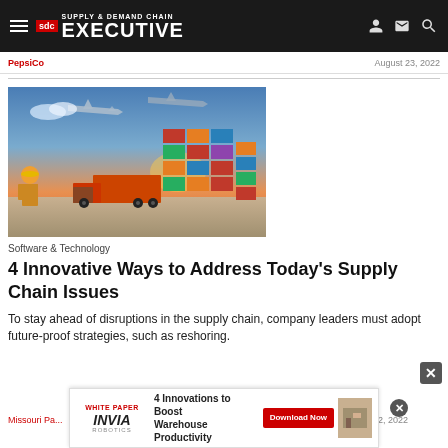Supply & Demand Chain Executive
PepsiCo | August 23, 2022
[Figure (photo): Logistics and supply chain scene: worker in hard hat overlooking shipping containers, trucks, and cargo aircraft at a port/distribution hub with orange sunset sky]
Software & Technology
4 Innovative Ways to Address Today’s Supply Chain Issues
To stay ahead of disruptions in the supply chain, company leaders must adopt future-proof strategies, such as reshoring.
Missouri Pa... | August 22, 2022
[Figure (infographic): Advertisement banner: White Paper - 4 Innovations to Boost Warehouse Productivity by INVIA Robotics, with Download Now button]